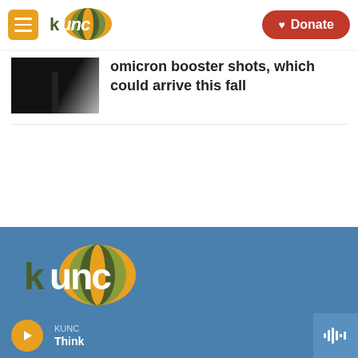KUNC — Donate
omicron booster shots, which could arrive this fall
[Figure (logo): KUNC radio station logo with colorful speech bubble and lowercase kunc wordmark]
Stay Connected
[Figure (other): Social media icons: Twitter, Instagram, Facebook in black circles]
KUNC — Think (audio player bar with play button and waveform icon)